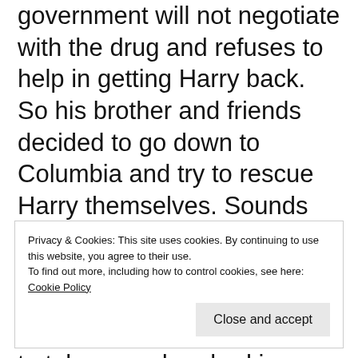government will not negotiate with the drug and refuses to help in getting Harry back. So his brother and friends decided to go down to Columbia and try to rescue Harry themselves. Sounds silly isn't it? And believe me it was, these men who has no experience in weapons training decided they wanted to take on a drug lord in a foreign country.
Privacy & Cookies: This site uses cookies. By continuing to use this website, you agree to their use. To find out more, including how to control cookies, see here: Cookie Policy
Close and accept